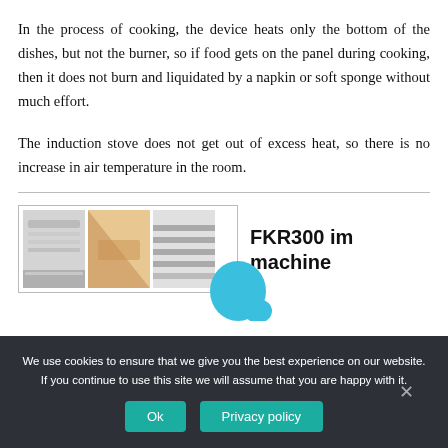In the process of cooking, the device heats only the bottom of the dishes, but not the burner, so if food gets on the panel during cooking, then it does not burn and liquidated by a napkin or soft sponge without much effort.
The induction stove does not get out of excess heat, so there is no increase in air temperature in the room.
[Figure (photo): Three product photos in a bordered grid showing metallic/packaging details, with 'FKR300 im... machine' text title to the right and a blue shape below]
We use cookies to ensure that we give you the best experience on our website. If you continue to use this site we will assume that you are happy with it.
Ok   Privacy policy